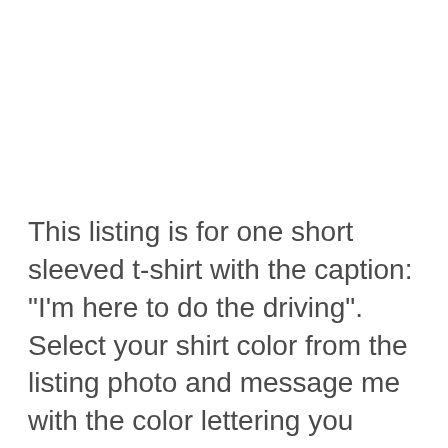This listing is for one short sleeved t-shirt with the caption: "I'm here to do the driving". Select your shirt color from the listing photo and message me with the color lettering you